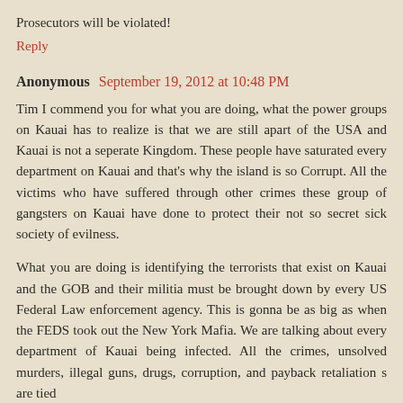Prosecutors will be violated!
Reply
Anonymous September 19, 2012 at 10:48 PM
Tim I commend you for what you are doing, what the power groups on Kauai has to realize is that we are still apart of the USA and Kauai is not a seperate Kingdom. These people have saturated every department on Kauai and that's why the island is so Corrupt. All the victims who have suffered through other crimes these group of gangsters on Kauai have done to protect their not so secret sick society of evilness.
What you are doing is identifying the terrorists that exist on Kauai and the GOB and their militia must be brought down by every US Federal Law enforcement agency. This is gonna be as big as when the FEDS took out the New York Mafia. We are talking about every department of Kauai being infected. All the crimes, unsolved murders, illegal guns, drugs, corruption, and payback retaliation s are tied to the decisions on some of GOB. And Prosecutors lied...